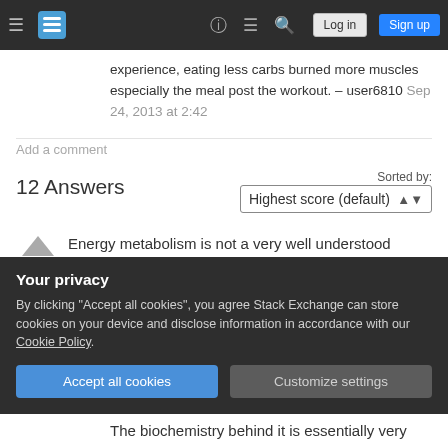Stack Exchange navigation bar with hamburger menu, logo, help, chat, search icons, Log in and Sign up buttons
experience, eating less carbs burned more muscles especially the meal post the workout. – user6810 Sep 24, 2013 at 2:42
Add a comment
12 Answers
Sorted by: Highest score (default)
Energy metabolism is not a very well understood system in the sense that while the biochemical reactions are well known, their dynamics is highly
Your privacy
By clicking "Accept all cookies", you agree Stack Exchange can store cookies on your device and disclose information in accordance with our Cookie Policy.
Accept all cookies   Customize settings
The biochemistry behind it is essentially very